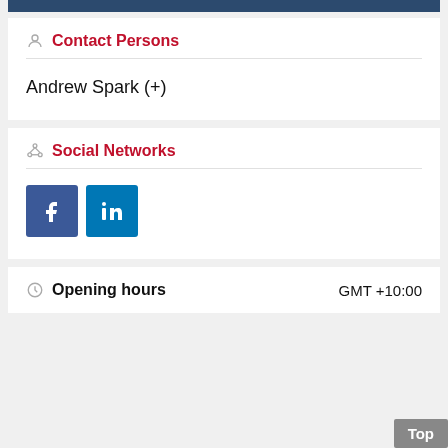Contact Persons
Andrew Spark (+)
Social Networks
[Figure (other): Facebook and LinkedIn social network icon buttons]
Opening hours
GMT +10:00
Top